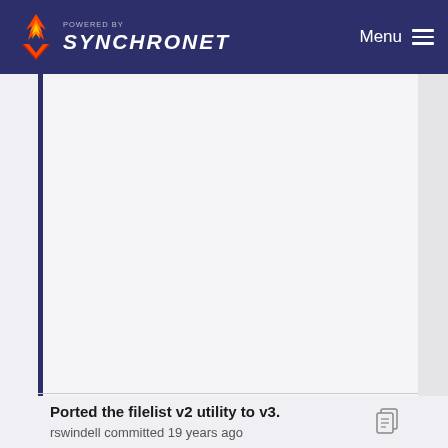POWERED BY SYNCHRONET  Menu
[Figure (screenshot): Large empty content area with a blue vertical bar on the left side, representing a code/repository viewer page body]
Ported the filelist v2 utility to v3.
rswindell committed 19 years ago